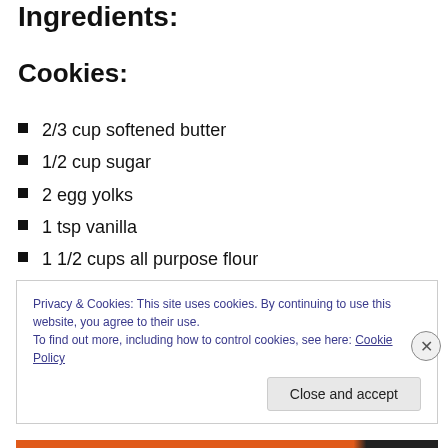Ingredients:
Cookies:
2/3 cup softened butter
1/2 cup sugar
2 egg yolks
1 tsp vanilla
1 1/2 cups all purpose flour
Privacy & Cookies: This site uses cookies. By continuing to use this website, you agree to their use.
To find out more, including how to control cookies, see here: Cookie Policy